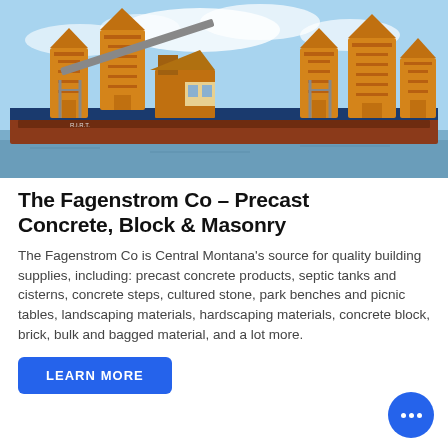[Figure (photo): Industrial concrete batching plant on a barge on water. Yellow silos and heavy equipment visible against a light blue sky with clouds.]
The Fagenstrom Co - Precast Concrete, Block & Masonry
The Fagenstrom Co is Central Montana's source for quality building supplies, including: precast concrete products, septic tanks and cisterns, concrete steps, cultured stone, park benches and picnic tables, landscaping materials, hardscaping materials, concrete block, brick, bulk and bagged material, and a lot more.
LEARN MORE